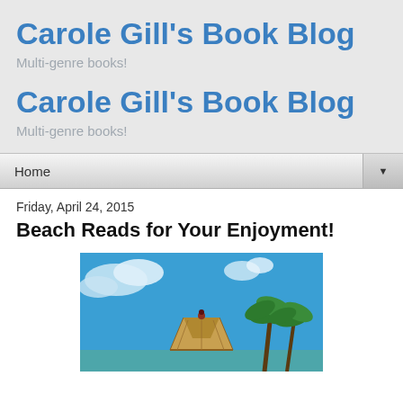Carole Gill's Book Blog
Multi-genre books!
Carole Gill's Book Blog
Multi-genre books!
Home ▼
Friday, April 24, 2015
Beach Reads for Your Enjoyment!
[Figure (photo): Tropical beach scene with palm trees, a thatched hut roof, and a bright blue sky with white clouds]